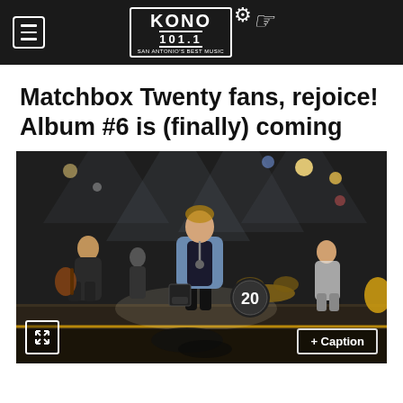KONO 101.1
Matchbox Twenty fans, rejoice! Album #6 is (finally) coming
[Figure (photo): Concert photo of Matchbox Twenty performing on stage. Lead singer in a denim jacket singing into a microphone at center stage, with band members and drum kit visible. A drum head with '20' is visible in the background. Stage lighting with beams overhead.]